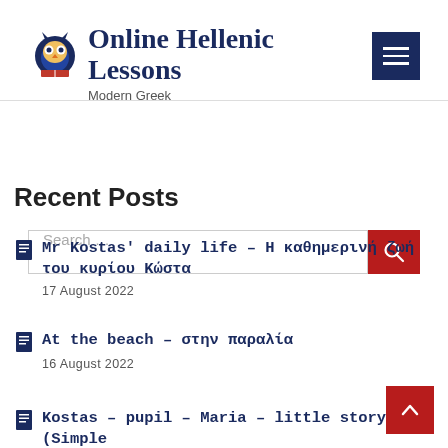Online Hellenic Lessons — Modern Greek
Recent Posts
Mr Kostas' daily life – Η καθημερινή ζωή του κυρίου Κώστα
17 August 2022
At the beach – στην παραλία
16 August 2022
Kostas – pupil – Maria – little story (Simple